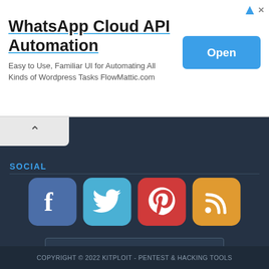[Figure (screenshot): Advertisement banner: WhatsApp Cloud API Automation with Open button]
WhatsApp Cloud API Automation
Easy to Use, Familiar UI for Automating All Kinds of Wordpress Tasks FlowMattic.com
SOCIAL
[Figure (screenshot): Social media icons row: Facebook, Twitter, Pinterest, RSS]
Your Email
Subscribe to our Newsletter
[Figure (screenshot): FeedBurner badge showing 1414 via feed:]
COPYRIGHT © 2022 KITPLOIT - PENTEST & HACKING TOOLS